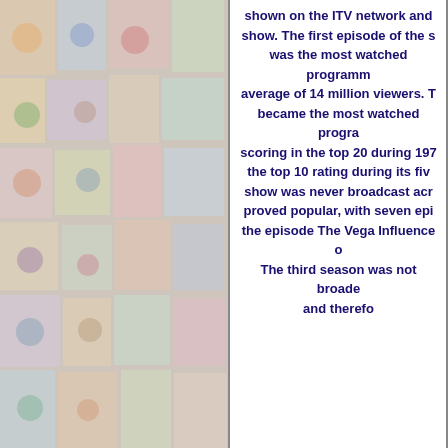[Figure (photo): Background collage of colorful trading cards, toys, and collectibles items arranged densely]
shown on the ITV network and... show. The first episode of the s... was the most watched programm... average of 14 million viewers. T... became the most watched progra... scoring in the top 20 during 197... the top 10 rating during its fiv... show was never broadcast acr... proved popular, with seven epi... the episode The Vega Influence o... The third season was not broade... and therefo...
[Figure (photo): Open book or magazine showing illustrated trading cards: The Six Million Dollar Man figure in red suit throwing boulders, and Bionic Woman cards partially visible on right]